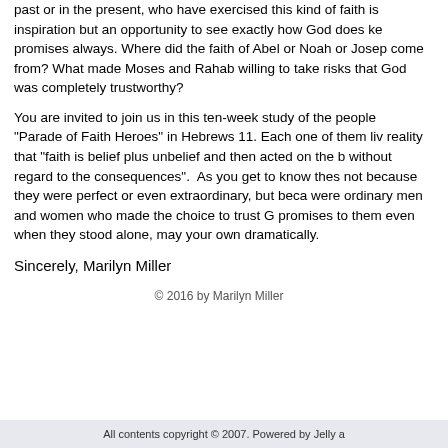past or in the present, who have exercised this kind of faith is inspiration but an opportunity to see exactly how God does keep promises always. Where did the faith of Abel or Noah or Joseph come from? What made Moses and Rahab willing to take risks that God was completely trustworthy?
You are invited to join us in this ten-week study of the people known as the "Parade of Faith Heroes" in Hebrews 11. Each one of them lived with the reality that "faith is belief plus unbelief and then acted on the belief without regard to the consequences". As you get to know these heroes, not because they were perfect or even extraordinary, but because they were ordinary men and women who made the choice to trust God to keep his promises to them even when they stood alone, may your own faith grow dramatically.
Sincerely, Marilyn Miller
© 2016 by Marilyn Miller
All contents copyright © 2007. Powered by Jelly a